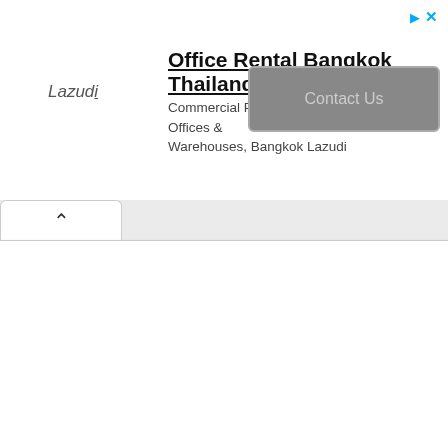[Figure (screenshot): Advertisement banner for Lazudi: Office Rental Bangkok Thailand - Commercial Properties To Rent: Offices & Warehouses, Bangkok Lazudi with a Contact Us button]
Lazudi
Office Rental Bangkok Thailand
Commercial Properties To Rent: Offices & Warehouses, Bangkok Lazudi